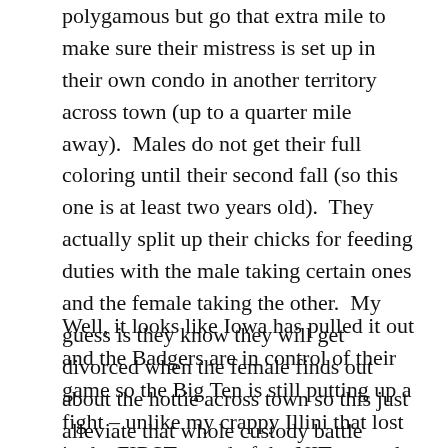polygamous but go that extra mile to make sure their mistress is set up in their own condo in another territory across town (up to a quarter mile away).  Males do not get their full coloring until their second fall (so this one is at least two years old).  They actually split up their chicks for feeding duties with the male taking certain ones and the female taking the other.  My guess is they know they will get divorced when the female finds out about the hottie across town so this just alleviate that whole custody battle thing.
Well, it looks like Iowa has pulled it out and the Badgers are in control of their game so the Big Ten is still putting up a fight – unlike my crappy Illini that lost in the FIRST round of the NIT a couple of days ago – pathetic not to mention they have the nerve to ask me to write our governor to tell them how awful it is that their funding is getting trimmed